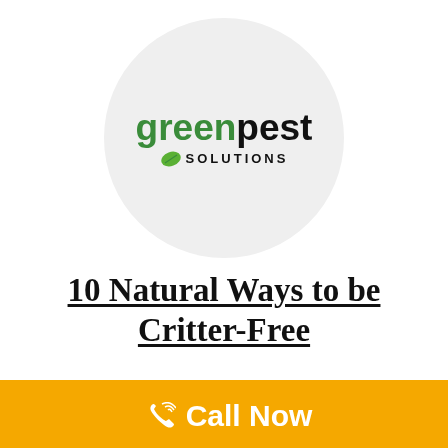[Figure (logo): Green Pest Solutions logo inside a light gray circle. Text reads 'green' in green bold, 'pest' in black bold, and 'SOLUTIONS' in black with a green leaf icon.]
10 Natural Ways to be Critter-Free
Nowadays when it comes to ide their homes. Now, more than ever, we are seeing families
[Figure (other): Orange 'Call Now' button with phone icon and white bold text.]